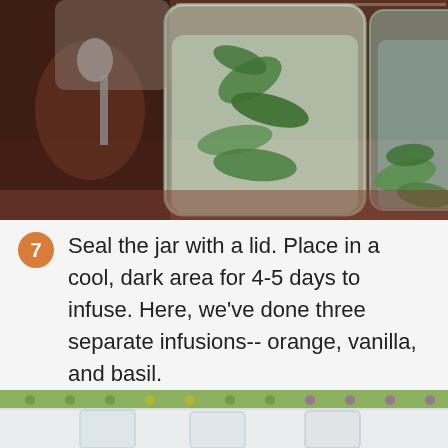[Figure (photo): Glass jars filled with herb and liquid infusions (mint/basil leaves visible) on a wooden table with additional jars in background]
7 Seal the jar with a lid. Place in a cool, dark area for 4-5 days to infuse. Here, we've done three separate infusions-- orange, vanilla, and basil.
[Figure (photo): Partial view of glasses or jars with infused liquids on a colorful patterned background]